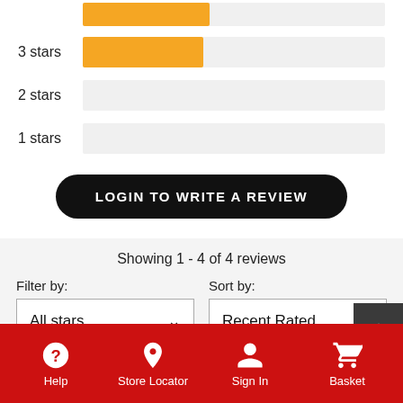[Figure (bar-chart): Partial star rating distribution bars showing 3 stars (orange bar ~40%), 2 stars (empty/light bar), 1 star (empty/light bar)]
LOGIN TO WRITE A REVIEW
Showing 1 - 4 of 4 reviews
Filter by:
All stars
Sort by:
Recent Rated
Help  Store Locator  Sign In  Basket